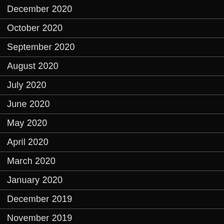December 2020
October 2020
September 2020
August 2020
July 2020
June 2020
May 2020
April 2020
March 2020
January 2020
December 2019
November 2019
October 2019